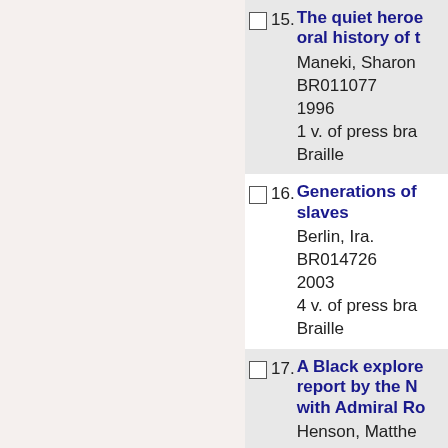15. The quiet heroe... oral history of t... Maneki, Sharon BR011077 1996 1 v. of press bra... Braille
16. Generations of ... slaves Berlin, Ira. BR014726 2003 4 v. of press bra... Braille
17. A Black explore... report by the N... with Admiral Ro... Henson, Matthe... BR003571